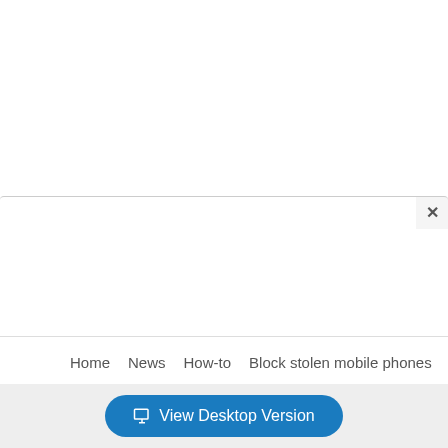[Figure (screenshot): White modal overlay area with close (X) button in top-right corner on a light gray background]
Home   News   How-to   Block stolen mobile phones
[Figure (other): View Desktop Version button with monitor icon on blue rounded pill background]